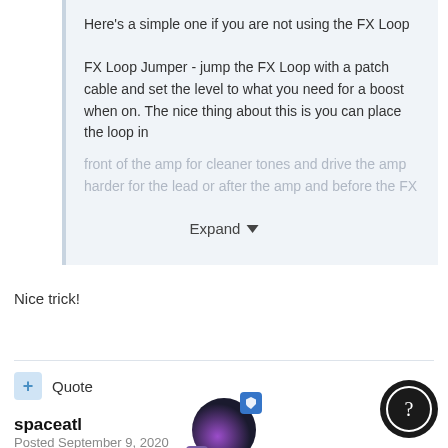Here's a simple one if you are not using the FX Loop

FX Loop Jumper - jump the FX Loop with a patch cable and set the level to what you need for a boost when on. The nice thing about this is you can place the loop in front of the amp for cleaner tones and drive the amp harder for the lead or after the amp and before the FX
Expand
Nice trick!
Quote
[Figure (photo): User avatar for spaceatl with shield badge and level badge]
spaceatl
Posted September 9, 2020
[Figure (other): Round help/support button with question mark]